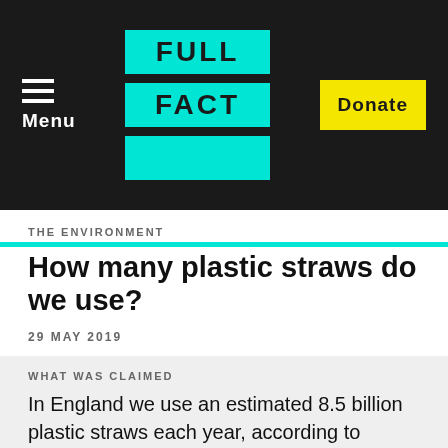Menu | FULL FACT | Donate
THE ENVIRONMENT
How many plastic straws do we use?
29 MAY 2019
WHAT WAS CLAIMED
In England we use an estimated 8.5 billion plastic straws each year, according to government figures.
OUR VERDICT
This is based on the fact f...